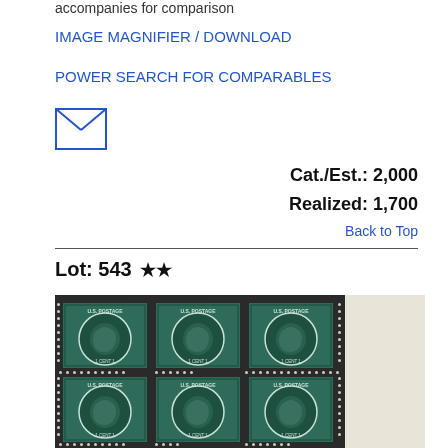accompanies for comparison
IMAGE MAGNIFIER / DOWNLOAD
POWER SEARCH FOR COMPARABLES
[Figure (illustration): Envelope icon (mail/email symbol)]
Cat./Est.: 2,000
Realized: 1,700
Back to Top
Lot: 543 ★★
[Figure (photo): Block of six U.S. 1-cent Washington stamps in dark green, arranged in 2 rows of 3, showing perforations and sheet margin on right side]